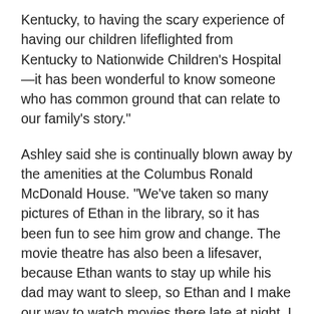Kentucky, to having the scary experience of having our children lifeflighted from Kentucky to Nationwide Children's Hospital—it has been wonderful to know someone who has common ground that can relate to our family's story."
Ashley said she is continually blown away by the amenities at the Columbus Ronald McDonald House. "We've taken so many pictures of Ethan in the library, so it has been fun to see him grow and change. The movie theatre has also been a lifesaver, because Ethan wants to stay up while his dad may want to sleep, so Ethan and I make our way to watch movies there late at night. I was here before, during, and after the expansion. I was here last Friday when they opened the NHL All-Star Tree House—what an amazing space! We love the Columbus